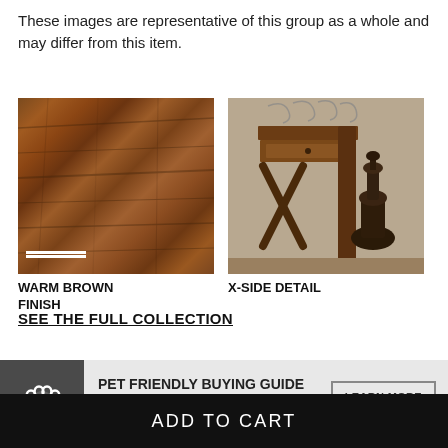These images are representative of this group as a whole and may differ from this item.
[Figure (photo): Close-up of warm brown wood finish texture with white scale bar]
WARM BROWN FINISH
[Figure (photo): X-side detail of dark wooden furniture with decorative X-shaped side panels and a large finial ornament]
X-SIDE DETAIL
SEE THE FULL COLLECTION
PET FRIENDLY BUYING GUIDE
Find furniture that both you and your pet will love.
ADD TO CART